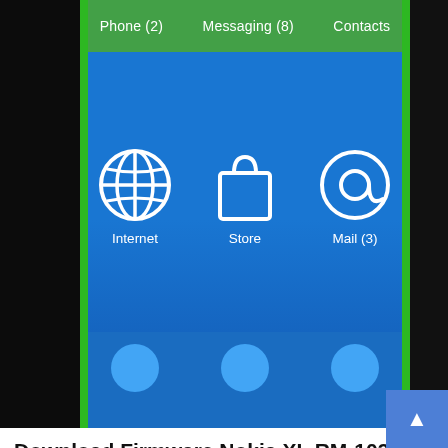[Figure (screenshot): Nokia XL phone screenshot showing home screen with green top bar (Phone (2), Messaging (8), Contacts) and blue grid with Internet, Store, and Mail (3) icons]
Download Firmware Nokia XL RM-1030 NDT APAC PH 059V6P4
Edwar Ramadhan   6 years ago
This website uses cookies to ensure you get the best experience on our website.  Learn more
Got it!